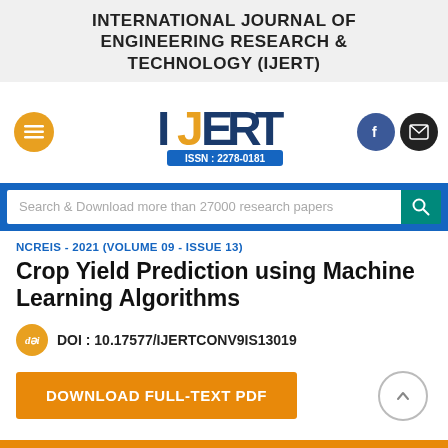INTERNATIONAL JOURNAL OF ENGINEERING RESEARCH & TECHNOLOGY (IJERT)
[Figure (logo): IJERT logo with ISSN 2278-0181, hamburger menu button, Facebook and email social icons]
Search & Download more than 27000 research papers
NCREIS - 2021 (VOLUME 09 - ISSUE 13)
Crop Yield Prediction using Machine Learning Algorithms
DOI : 10.17577/IJERTCONV9IS13019
DOWNLOAD FULL-TEXT PDF